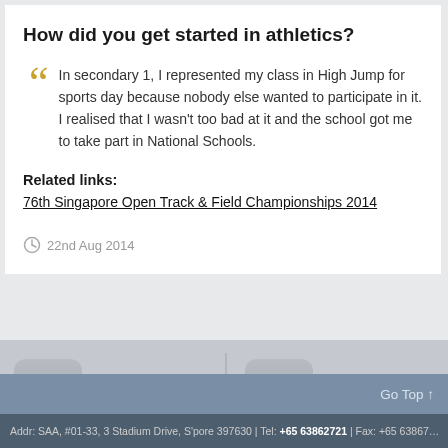How did you get started in athletics?
In secondary 1, I represented my class in High Jump for sports day because nobody else wanted to participate in it. I realised that I wasn't too bad at it and the school got me to take part in National Schools.
Related links:
76th Singapore Open Track & Field Championships 2014
22nd Aug 2014
[Figure (other): Facebook icon button with text 'Become a fan on Facebook']
[Figure (other): Twitter icon button with text 'Follow us on Twitter']
Go Top ↑
Addr: SAA, #01-33, 3 Stadium Drive, S'pore 397630 | Tel: +65 63862721 | Fax: +65 63867...